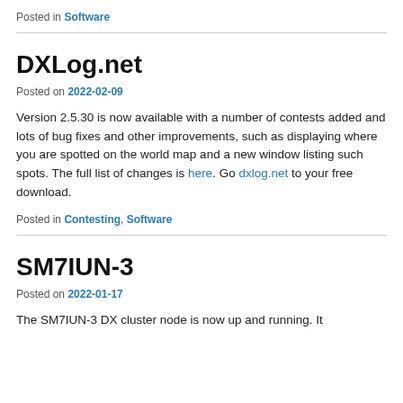Posted in Software
DXLog.net
Posted on 2022-02-09
Version 2.5.30 is now available with a number of contests added and lots of bug fixes and other improvements, such as displaying where you are spotted on the world map and a new window listing such spots. The full list of changes is here. Go dxlog.net to your free download.
Posted in Contesting, Software
SM7IUN-3
Posted on 2022-01-17
The SM7IUN-3 DX cluster node is now up and running. It